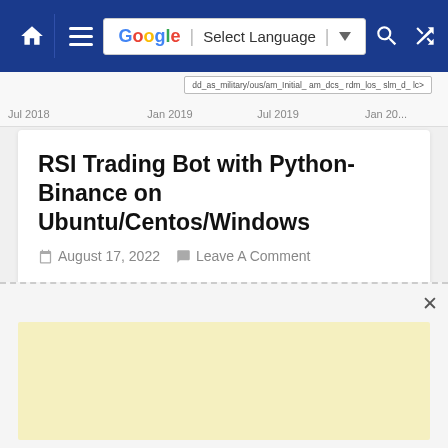Navigation bar with home icon, hamburger menu, Google Translate language selector, search icon, and shuffle icon
[Figure (continuous-plot): Chart strip showing a timeline with labels Jul 2018, Jan 2019, Jul 2019, Jan 20... with a tooltip overlay on the right side]
RSI Trading Bot with Python-Binance on Ubuntu/Centos/Windows
August 17, 2022   Leave A Comment
Those are the steps and requirements to install and run the python trading bot: download vmware player: https://www.vmware.com/products/workstati   Read More...
[Figure (other): Advertisement placeholder box with light yellow background and an X close button]